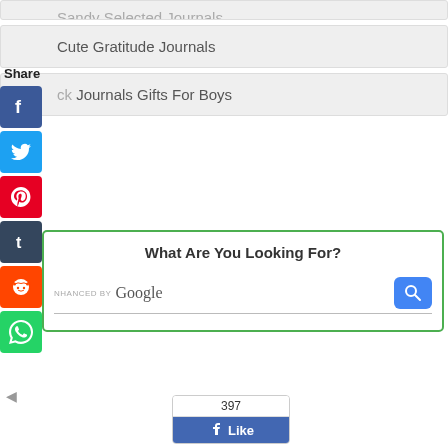Cute Gratitude Journals
ck Journals Gifts For Boys
[Figure (infographic): Social share panel with Share label and icons: Facebook, Twitter, Pinterest, Tumblr, Reddit, WhatsApp]
[Figure (screenshot): Search widget with green border, title 'What Are You Looking For?', Enhanced by Google search bar with blue search button]
[Figure (screenshot): Facebook Like widget showing 397 likes]
◄ (back arrow)